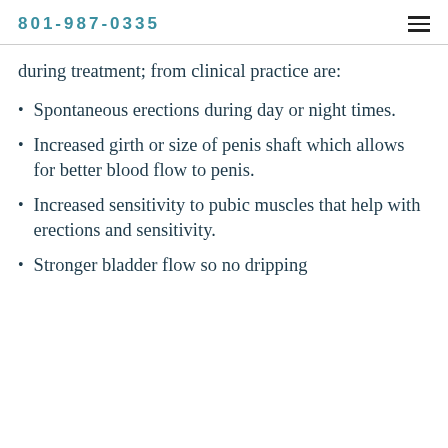801-987-0335
during treatment; from clinical practice are:
Spontaneous erections during day or night times.
Increased girth or size of penis shaft which allows for better blood flow to penis.
Increased sensitivity to pubic muscles that help with erections and sensitivity.
Stronger bladder flow so no dripping